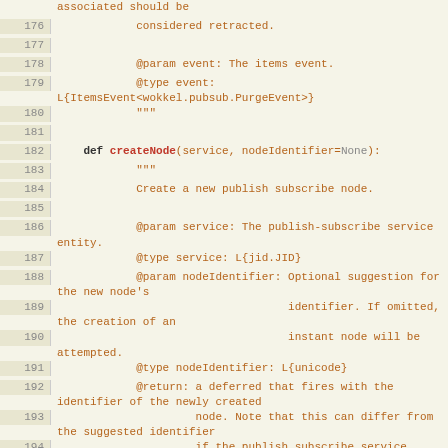Source code listing lines 176-200, showing createNode and deleteNode function definitions with docstrings